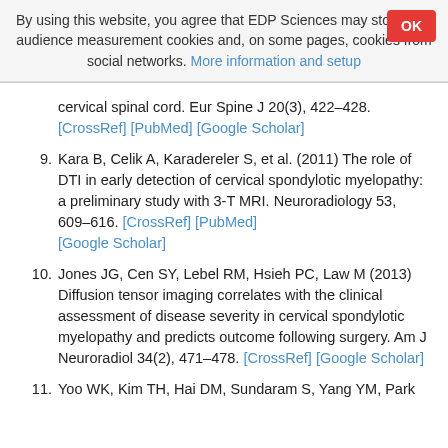By using this website, you agree that EDP Sciences may store web audience measurement cookies and, on some pages, cookies from social networks. More information and setup
cervical spinal cord. Eur Spine J 20(3), 422–428. [CrossRef] [PubMed] [Google Scholar]
9. Kara B, Celik A, Karadereler S, et al. (2011) The role of DTI in early detection of cervical spondylotic myelopathy: a preliminary study with 3-T MRI. Neuroradiology 53, 609–616. [CrossRef] [PubMed] [Google Scholar]
10. Jones JG, Cen SY, Lebel RM, Hsieh PC, Law M (2013) Diffusion tensor imaging correlates with the clinical assessment of disease severity in cervical spondylotic myelopathy and predicts outcome following surgery. Am J Neuroradiol 34(2), 471–478. [CrossRef] [Google Scholar]
11. Yoo WK, Kim TH, Hai DM, Sundaram S, Yang YM, Park